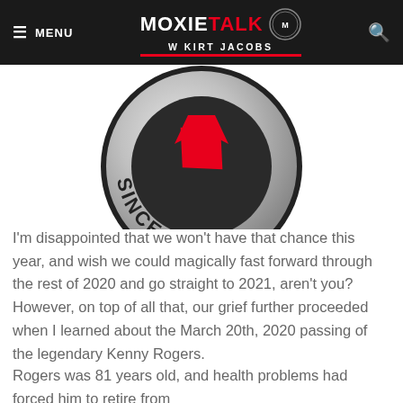MENU | MOXIE TALK with KIRT JACOBS | [search]
[Figure (logo): Circular metallic badge logo showing 'SINCE 2005' text with a red triangle/chevron accent and 'M' monogram badge on top right]
I'm disappointed that we won't have that chance this year, and wish we could magically fast forward through the rest of 2020 and go straight to 2021, aren't you? However, on top of all that, our grief further proceeded when I learned about the March 20th, 2020 passing of the legendary Kenny Rogers.
Rogers was 81 years old, and health problems had forced him to retire from